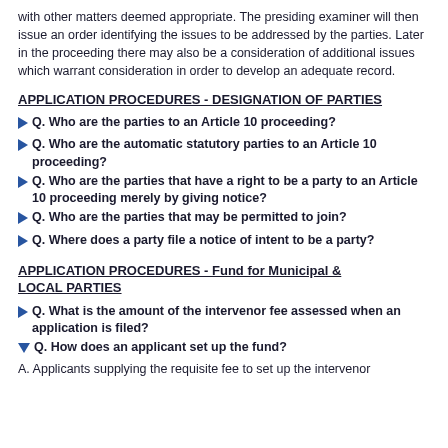with other matters deemed appropriate. The presiding examiner will then issue an order identifying the issues to be addressed by the parties. Later in the proceeding there may also be a consideration of additional issues which warrant consideration in order to develop an adequate record.
APPLICATION PROCEDURES - DESIGNATION OF PARTIES
Q. Who are the parties to an Article 10 proceeding?
Q. Who are the automatic statutory parties to an Article 10 proceeding?
Q. Who are the parties that have a right to be a party to an Article 10 proceeding merely by giving notice?
Q. Who are the parties that may be permitted to join?
Q. Where does a party file a notice of intent to be a party?
APPLICATION PROCEDURES - Fund for Municipal & LOCAL PARTIES
Q. What is the amount of the intervenor fee assessed when an application is filed?
Q. How does an applicant set up the fund?
A. Applicants supplying the requisite fee to set up the intervenor